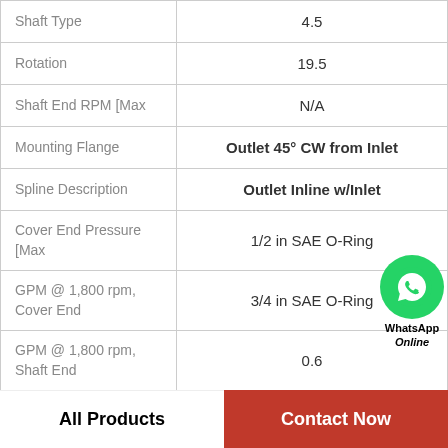| Property | Value |
| --- | --- |
| Shaft Type | 4.5 |
| Rotation | 19.5 |
| Shaft End RPM [Max | N/A |
| Mounting Flange | Outlet 45° CW from Inlet |
| Spline Description | Outlet Inline w/Inlet |
| Cover End Pressure [Max | 1/2 in SAE O-Ring |
| GPM @ 1,800 rpm, Cover End | 3/4 in SAE O-Ring |
| GPM @ 1,800 rpm, Shaft End | 0.6 |
WhatsApp Online
All Products
Contact Now